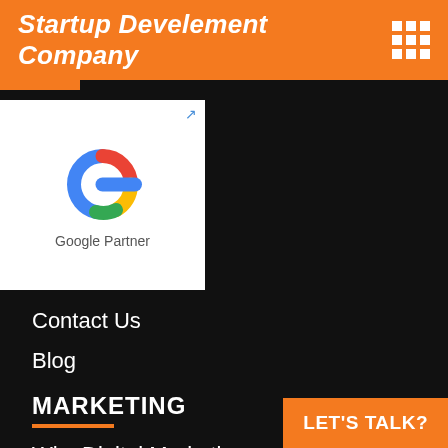Startup Develement Company
[Figure (logo): Google Partner logo with colorful G icon and text 'Google Partner' on white background]
Contact Us
Blog
MARKETING
Why Digital Marketing
Search Engine Optimization
Social Media Optimization
PPC Management Services
Social Media Marketing
Brand Management Services (partial)
LET'S TALK?